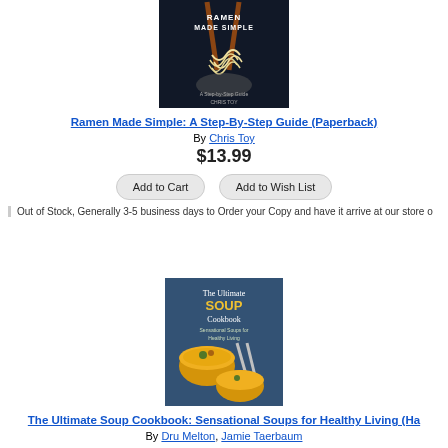[Figure (photo): Book cover of 'Ramen Made Simple: A Step-By-Step Guide' by Chris Toy — dark background with chopsticks holding ramen noodles]
Ramen Made Simple: A Step-By-Step Guide (Paperback)
By Chris Toy
$13.99
Add to Cart   Add to Wish List
Out of Stock, Generally 3-5 business days to Order your Copy and have it arrive at our store o
[Figure (photo): Book cover of 'The Ultimate Soup Cookbook: Sensational Soups for Healthy Living' — teal background with bowls of yellow soup]
The Ultimate Soup Cookbook: Sensational Soups for Healthy Living (Ha
By Dru Melton, Jamie Taerbaum